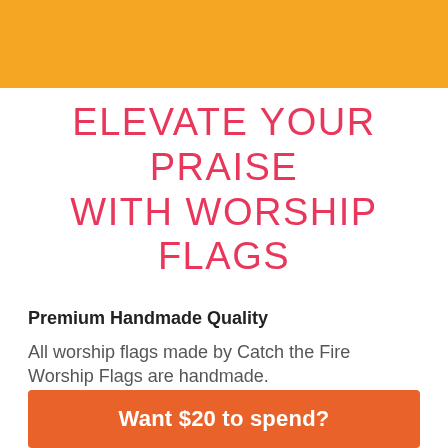[Figure (other): Orange banner/header background at top of page]
ELEVATE YOUR PRAISE WITH WORSHIP FLAGS
Premium Handmade Quality
All worship flags made by Catch the Fire Worship Flags are handmade.
Want $20 to spend?